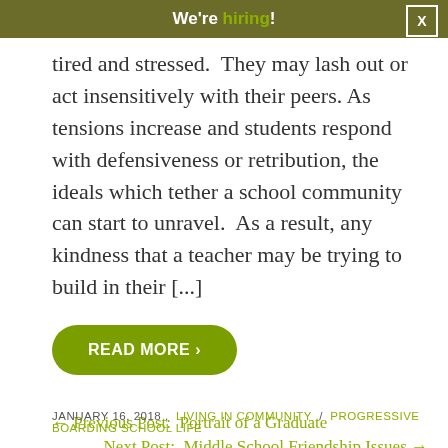We're hiring!
tired and stressed.  They may lash out or act insensitively with their peers. As tensions increase and students respond with defensiveness or retribution, the ideals which tether a school community can start to unravel.  As a result, any kindness that a teacher may be trying to build in their [...]
READ MORE ›
← Previous Post:  Portrait of a Graduate
Next Post:  Middle School Friendship Issues →
JANUARY 16, 2018 ,  LIVING IN COMMUNITY  /  PROGRESSIVE BOARDING SCHOOL LIFE